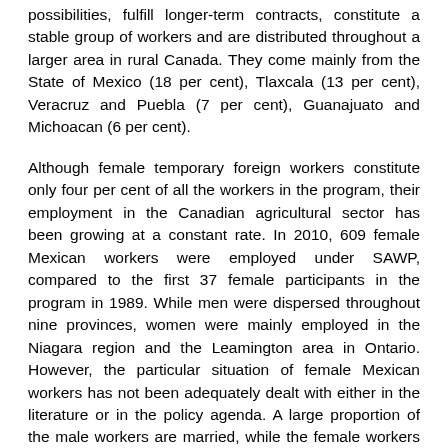possibilities, fulfill longer-term contracts, constitute a stable group of workers and are distributed throughout a larger area in rural Canada. They come mainly from the State of Mexico (18 per cent), Tlaxcala (13 per cent), Veracruz and Puebla (7 per cent), Guanajuato and Michoacan (6 per cent).
Although female temporary foreign workers constitute only four per cent of all the workers in the program, their employment in the Canadian agricultural sector has been growing at a constant rate. In 2010, 609 female Mexican workers were employed under SAWP, compared to the first 37 female participants in the program in 1989. While men were dispersed throughout nine provinces, women were mainly employed in the Niagara region and the Leamington area in Ontario. However, the particular situation of female Mexican workers has not been adequately dealt with either in the literature or in the policy agenda. A large proportion of the male workers are married, while the female workers are generally single mothers and divorced, separated or widowed women, with children whom they are still raising. Gender, understood as a social system, shapes immigration patterns, processes and experiences for both men and